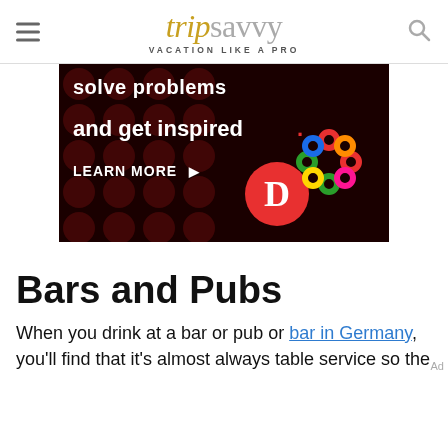tripsavvy VACATION LIKE A PRO
[Figure (photo): Advertisement banner with dark background with red polka dots, text 'and get inspired.' with a red period, 'LEARN MORE' with arrow, and logos including a red circle with 'D' and a colorful Celtic knot pattern.]
Bars and Pubs
When you drink at a bar or pub or bar in Germany, you'll find that it's almost always table service so the